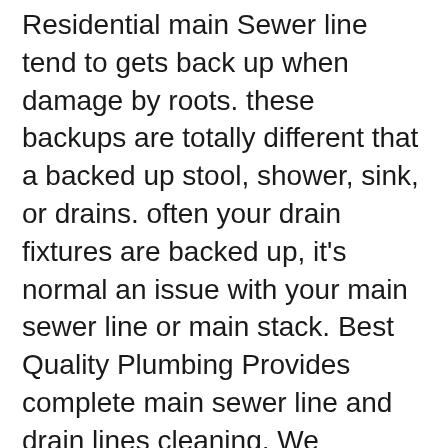Residential main Sewer line tend to gets back up when damage by roots. these backups are totally different that a backed up stool, shower, sink, or drains. often your drain fixtures are backed up, it's normal an issue with your main sewer line or main stack. Best Quality Plumbing Provides complete main sewer line and drain lines cleaning. We specialize in $99 main sewer line. We have the right equipment. CALL US NOW.
Unexpected toilet problems interrupt your daily routine, turning what you expected to be a good day into a stressful one. You need help ASAP!
Best quality Plumbing is ready to solve your toilet issues no matter the time or day. From